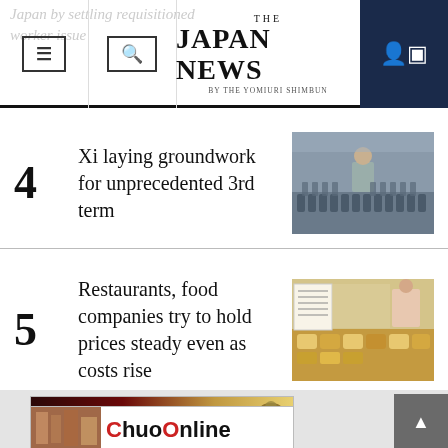THE JAPAN NEWS BY THE YOMIURI SHIMBUN
4 Xi laying groundwork for unprecedented 3rd term
5 Restaurants, food companies try to hold prices steady even as costs rise
[Figure (photo): WASEDA ONLINE — See the history of WASEDA University advertisement banner]
[Figure (photo): ChuoOnline advertisement banner with building image]